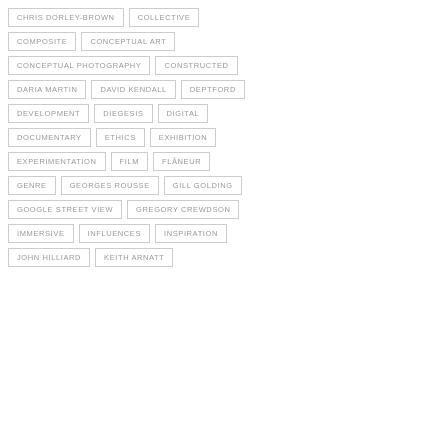CHRIS DORLEY-BROWN
COLLECTIVE
COMPOSITE
CONCEPTUAL ART
CONCEPTUAL PHOTOGRAPHY
CONSTRUCTED
DARIA MARTIN
DAVID KENDALL
DEPTFORD
DEVELOPMENT
DIEGESIS
DIGITAL
DOCUMENTARY
ETHICS
EXHIBITION
EXPERIMENTATION
FILM
FLÂNEUR
GENRE
GEORGES ROUSSE
GILL GOLDING
GOOGLE STREET VIEW
GREGORY CREWDSON
IMMERSIVE
INFLUENCES
INSPIRATION
JOHN HILLIARD
KEITH ARNATT